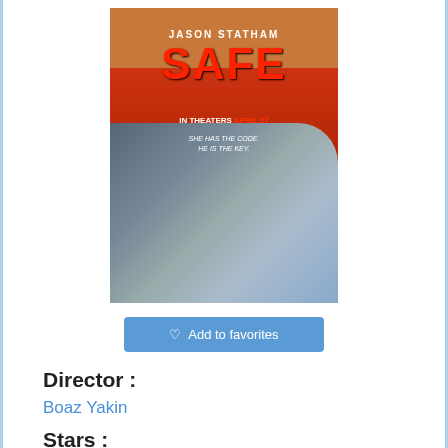[Figure (photo): Movie poster for 'Safe' starring Jason Statham. Shows a large gun in foreground, a young Asian girl in dark clothes in background, red and orange colors. Text: JASON STATHAM, SAFE, IN THEATERS APRIL 27, SHE HAS THE CODE. HE IS THE KEY.]
♡ Add to favorites
Director :
Boaz Yakin
Stars :
Jason Statham, Catherine Chan, Chris Sarandon